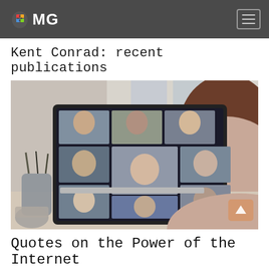MG
Kent Conrad: recent publications
[Figure (photo): Woman seen from behind sitting at a desk viewing a video conference call on a laptop screen showing multiple participants in a grid layout. Pencil holder and desk items visible on left.]
Quotes on the Power of the Internet